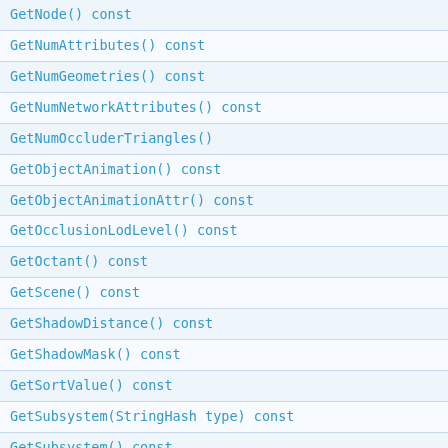| GetNode() const |
| GetNumAttributes() const |
| GetNumGeometries() const |
| GetNumNetworkAttributes() const |
| GetNumOccluderTriangles() |
| GetObjectAnimation() const |
| GetObjectAnimationAttr() const |
| GetOcclusionLodLevel() const |
| GetOctant() const |
| GetScene() const |
| GetShadowDistance() const |
| GetShadowMask() const |
| GetSortValue() const |
| GetSubsystem(StringHash type) const |
| GetSubsystem() const |
| GetType() const =0 |
| GetTypeInfo() const =0 |
| GetTypeInfoStatic() |
| GetTypeName() const =0 |
| GetUpdateGeometryType() |
| GetVertexLights() const |